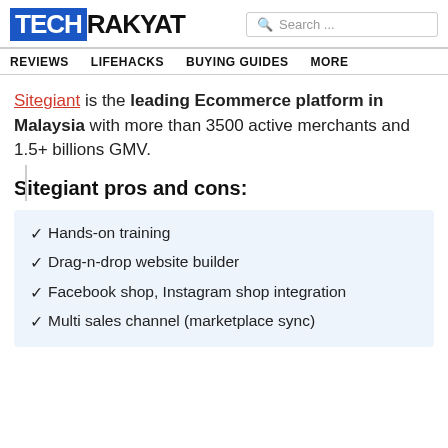TECH RAKYAT
REVIEWS   LIFEHACKS   BUYING GUIDES   MORE
Sitegiant is the leading Ecommerce platform in Malaysia with more than 3500 active merchants and 1.5+ billions GMV.
Sitegiant pros and cons:
Hands-on training
Drag-n-drop website builder
Facebook shop, Instagram shop integration
Multi sales channel (marketplace sync)